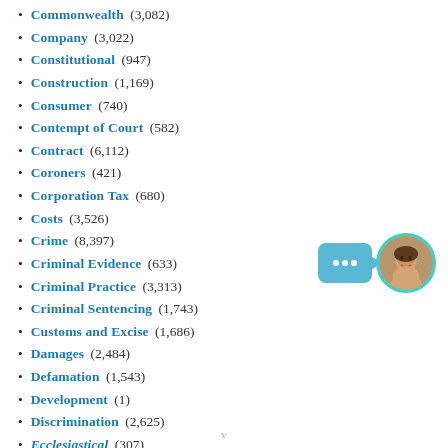Commonwealth (3,082)
Company (3,022)
Constitutional (947)
Construction (1,169)
Consumer (740)
Contempt of Court (582)
Contract (6,112)
Coroners (421)
Corporation Tax (680)
Costs (3,526)
Crime (8,397)
Criminal Evidence (633)
Criminal Practice (3,313)
Criminal Sentencing (1,743)
Customs and Excise (1,686)
Damages (2,484)
Defamation (1,543)
Development (1)
Discrimination (2,625)
Ecclesiastical (307)
[Figure (illustration): Chat widget with teal speech bubble with three dots and arrow, next to a circular avatar photo of a smiling woman with teal border]